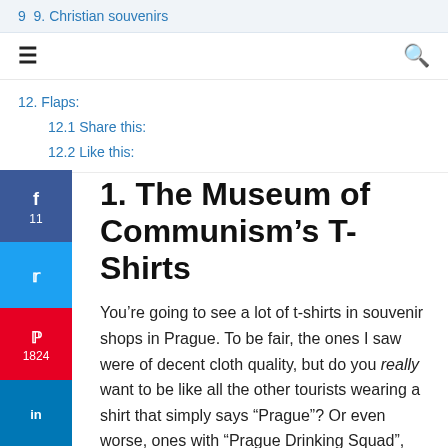9  9. Christian souvenirs
12. Flaps:
12.1 Share this:
12.2 Like this:
1. The Museum of Communism’s T-Shirts
You’re going to see a lot of t-shirts in souvenir shops in Prague. To be fair, the ones I saw were of decent cloth quality, but do you really want to be like all the other tourists wearing a shirt that simply says “Prague”? Or even worse, ones with “Prague Drinking Squad”, which is an immediate way to annoy the city’s residents? No, you do not.